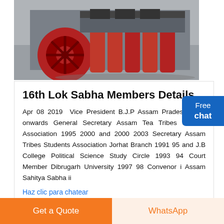[Figure (photo): Industrial machinery with large red wheel and conveyor belt mechanism]
16th Lok Sabha Members Details
Apr 08 2019  Vice President B.J.P Assam Pradesh 2013 onwards General Secretary Assam Tea Tribes Student Association 1995 2000 and 2000 2003 Secretary Assam Tribes Students Association Jorhat Branch 1991 95 and J.B College Political Science Study Circle 1993 94 Court Member Dibrugarh University 1997 98 Convenor i Assam Sahitya Sabha ii
Haz clic para chatear
Get a Quote
WhatsApp